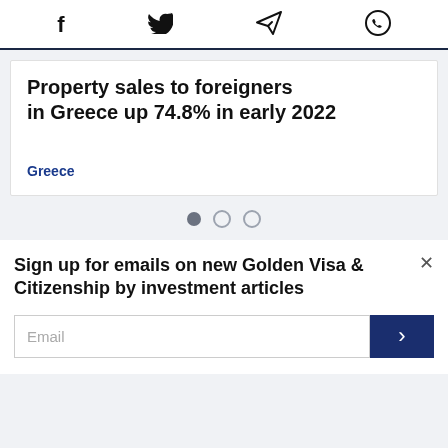Social share icons: Facebook, Twitter, Telegram, WhatsApp
Property sales to foreigners in Greece up 74.8% in early 2022
Greece
[Figure (other): Carousel navigation dots: one filled, two empty]
Sign up for emails on new Golden Visa & Citizenship by investment articles
Email